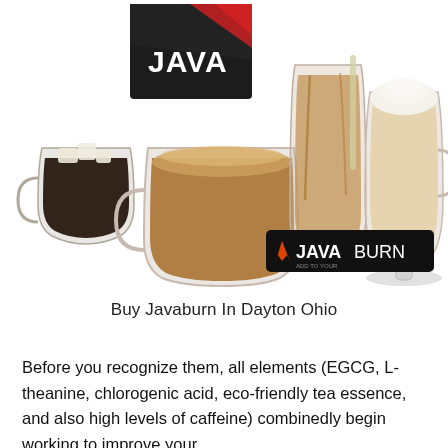[Figure (photo): Product photo showing multiple coffee drinks in glass mugs and tall glasses, a black JAVA brand coffee packet in the background, and a JAVABURN supplement packet in the foreground right.]
Buy Javaburn In Dayton Ohio
Before you recognize them, all elements (EGCG, L-theanine, chlorogenic acid, eco-friendly tea essence, and also high levels of caffeine) combinedly begin working to improve your